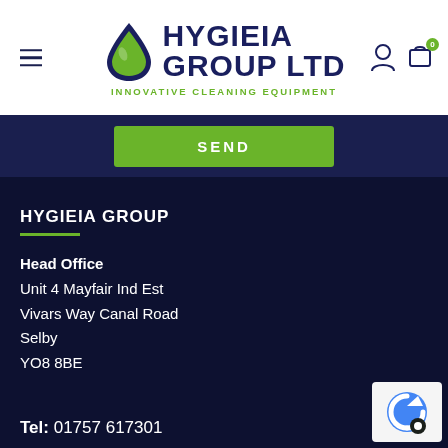[Figure (logo): Hygieia Group Ltd logo with green water drop icon, dark blue bold text HYGIEIA GROUP LTD, and green tagline INNOVATIVE CLEANING EQUIPMENT]
SEND
HYGIEIA GROUP
Head Office
Unit 4 Mayfair Ind Est
Vivars Way Canal Road
Selby
YO8 8BE
Tel: 01757 617301